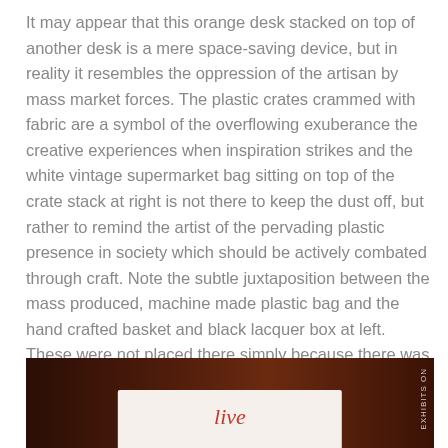It may appear that this orange desk stacked on top of another desk is a mere space-saving device, but in reality it resembles the oppression of the artisan by mass market forces. The plastic crates crammed with fabric are a symbol of the overflowing exuberance the creative experiences when inspiration strikes and the white vintage supermarket bag sitting on top of the crate stack at right is not there to keep the dust off, but rather to remind the artist of the pervading plastic presence in society which should be actively combated through craft. Note the subtle juxtaposition between the mass produced, machine made plastic bag and the hand crafted basket and black lacquer box at left. These were not placed there simply because there was no room anywhere else in the house, but rather to recall the uneasy dichotomy between the contemporary and past traditions.
[Figure (photo): Partial view of a photo showing a dark brown wooden surface with a white card or paper featuring cursive red script text, and additional items partially visible.]